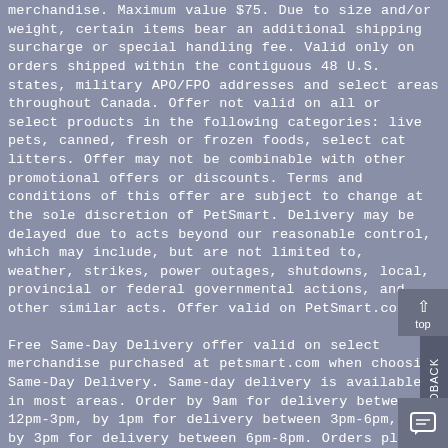merchandise. Maximum value $75. Due to size and/or weight, certain items bear an additional shipping surcharge or special handling fee. Valid only on orders shipped within the contiguous 48 U.S. states, military APO/FPO addresses and select areas throughout Canada. Offer not valid on all or select products in the following categories: live pets, canned, fresh or frozen foods, select cat litters. Offer may not be combinable with other promotional offers or discounts. Terms and conditions of this offer are subject to change at the sole discretion of PetSmart. Delivery may be delayed due to acts beyond our reasonable control, which may include, but are not limited to, weather, strikes, power outages, shutdowns, local, provincial or federal governmental actions, and other similar acts. Offer valid on PetSmart.com.
Free Same-Day Delivery offer valid on select merchandise purchased at petsmart.com when choosing Same-Day Delivery. Same-day delivery is available in most areas. Order by 9am for delivery between 12pm-3pm, by 1pm for delivery between 3pm-6pm, & by 3pm for delivery between 6pm-8pm. Orders placed after 3pm will be fulfilled the next day. Delivery may be delayed due to acts beyond our reasonable control, which may include, but are not limited to, weather, strikes, power outages, shutdowns, local, provincial or federal governmental actions, and other similar acts. While delivery is contact-free, be sure to be home during your delivery window to bring any perishable